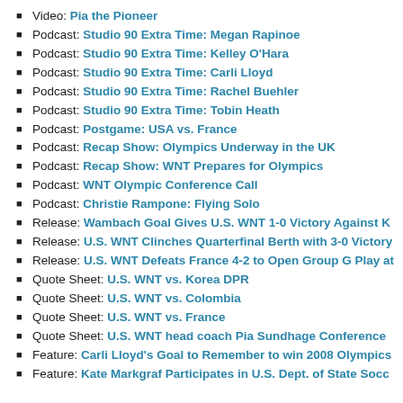Video: Pia the Pioneer
Podcast: Studio 90 Extra Time: Megan Rapinoe
Podcast: Studio 90 Extra Time: Kelley O'Hara
Podcast: Studio 90 Extra Time: Carli Lloyd
Podcast: Studio 90 Extra Time: Rachel Buehler
Podcast: Studio 90 Extra Time: Tobin Heath
Podcast: Postgame: USA vs. France
Podcast: Recap Show: Olympics Underway in the UK
Podcast: Recap Show: WNT Prepares for Olympics
Podcast: WNT Olympic Conference Call
Podcast: Christie Rampone: Flying Solo
Release: Wambach Goal Gives U.S. WNT 1-0 Victory Against K
Release: U.S. WNT Clinches Quarterfinal Berth with 3-0 Victory
Release: U.S. WNT Defeats France 4-2 to Open Group G Play at
Quote Sheet: U.S. WNT vs. Korea DPR
Quote Sheet: U.S. WNT vs. Colombia
Quote Sheet: U.S. WNT vs. France
Quote Sheet: U.S. WNT head coach Pia Sundhage Conference
Feature: Carli Lloyd's Goal to Remember to win 2008 Olympics
Feature: Kate Markgraf Participates in U.S. Dept. of State Socc